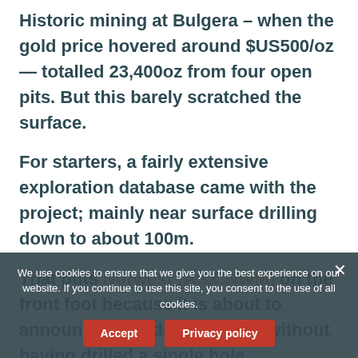Historic mining at Bulgera – when the gold price hovered around $US500/oz — totalled 23,400oz from four open pits. But this barely scratched the surface.
For starters, a fairly extensive exploration database came with the project; mainly near surface drilling down to about 100m.
That puts Norwest (ASX:NWM) on the front foot because it is about to announce a maiden resource without having drilled a single hole.
This initial resource represents near term cashflow for Norwest, which stands to benefit from by including two gas-fired power stations
We use cookies to ensure that we give you the best experience on our website. If you continue to use this site, you consent to the use of all cookies.